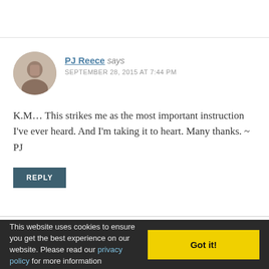PJ Reece says
SEPTEMBER 28, 2015 AT 7:44 PM
K.M… This strikes me as the most important instruction I've ever heard. And I'm taking it to heart. Many thanks. ~ PJ
REPLY
K.M. Weiland | @KMWeiland says
SEPTEMBER 29, 2015 AT 2:10 PM
This website uses cookies to ensure you get the best experience on our website. Please read our privacy policy for more information